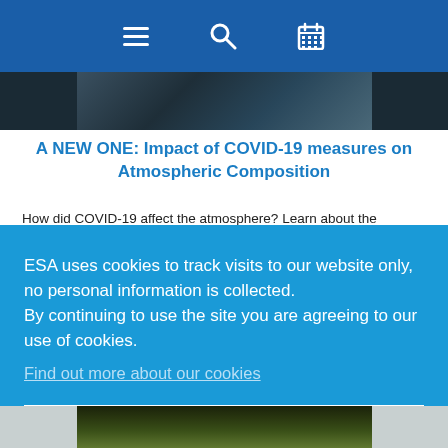ESA navigation bar with menu, search, and calendar icons
[Figure (photo): Partial aerial/satellite photo strip at top of article]
A NEW ONE: Impact of COVID-19 measures on Atmospheric Composition
How did COVID-19 affect the atmosphere? Learn about the ICOVAC project and its findings
ESA uses cookies to track visits to our website only, no personal information is collected.
By continuing to use the site you are agreeing to our use of cookies.
Find out more about our cookies
I agree
[Figure (photo): Partial photo strip at bottom of page]